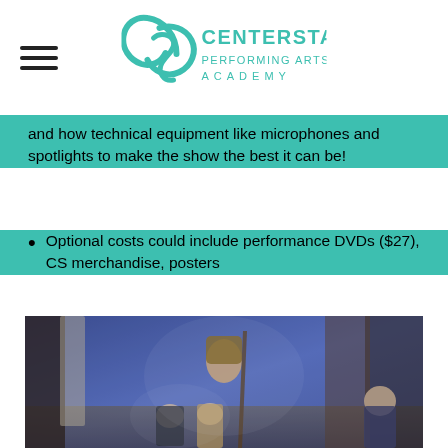Centerstage Performing Arts Academy
and how technical equipment like microphones and spotlights to make the show the best it can be!
Optional costs could include performance DVDs ($27), CS merchandise, posters
[Figure (photo): Theater performance photo showing actors in costume on stage with blue lighting. A woman in a brown headscarf stands holding a staff in the center, with two young girls seated in front of her and other cast members visible in the background.]